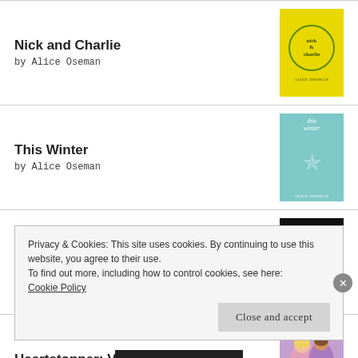Nick and Charlie
by Alice Oseman
[Figure (illustration): Book cover of Nick and Charlie - yellow background with circular design and text]
This Winter
by Alice Oseman
[Figure (illustration): Book cover of This Winter - teal/blue background with star design]
The Brink
by Holden Sheppard
[Figure (illustration): Book cover of The Brink - dark background with bold red text]
Heartstopper: Volume Four
by Alice Oseman
[Figure (illustration): Book cover of Heartstopper Volume Four - purple background with two figures]
Privacy & Cookies: This site uses cookies. By continuing to use this website, you agree to their use.
To find out more, including how to control cookies, see here: Cookie Policy
Close and accept